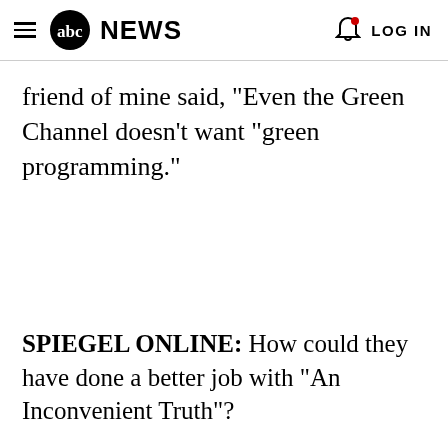abc NEWS  LOG IN
friend of mine said, "Even the Green Channel doesn't want "green programming."
SPIEGEL ONLINE: How could they have done a better job with "An Inconvenient Truth"?